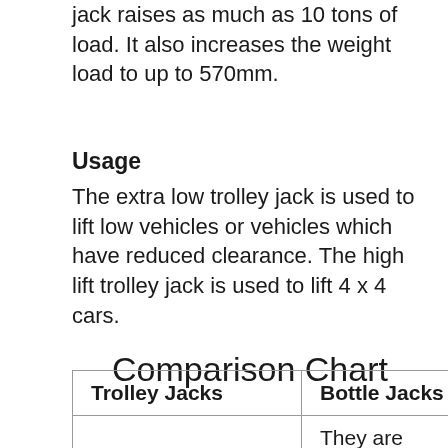jack raises as much as 10 tons of load. It also increases the weight load to up to 570mm.
Usage
The extra low trolley jack is used to lift low vehicles or vehicles which have reduced clearance. The high lift trolley jack is used to lift 4 x 4 cars.
Comparison Chart
| Trolley Jacks | Bottle Jacks |
| --- | --- |
|  | They are |